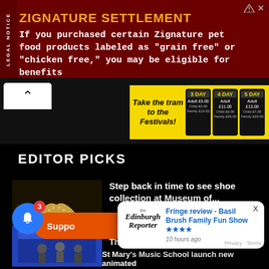[Figure (screenshot): Legal notice advertisement for Zignature Settlement pet food class action]
[Figure (screenshot): Navigation bar with back arrow and Edinburgh Tram to Festivals advertisement offering 3-day, 4-day, and 5-day passes]
EDITOR PICKS
[Figure (photo): Photo of ornate vintage shoes/heels on display]
Step back in time to see shoe collection at Museum of...
June 11, 2019 12:33 pm
[Figure (photo): Photo of group of men outside a building with blue signage]
Energy saving workshop this Thursday
[Figure (screenshot): Notification popup from Edinburgh Reporter: Fringe review - Basil Brush Family Fun Show ★★★★, 10 hours ago]
St Mary's Music School launch new animated